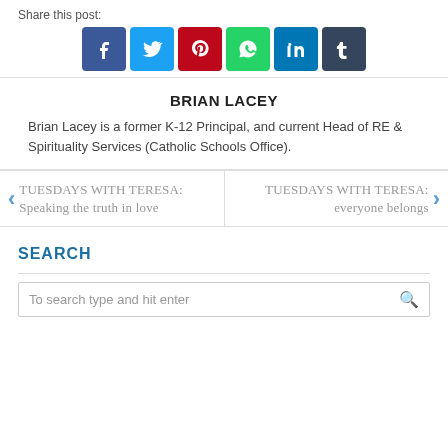Share this post:
[Figure (infographic): Row of 6 social media share buttons: Facebook (dark blue), Twitter (light blue), Pinterest (red), WhatsApp (green), LinkedIn (blue), Tumblr (dark navy)]
BRIAN LACEY
Brian Lacey is a former K-12 Principal, and current Head of RE & Spirituality Services (Catholic Schools Office).
TUESDAYS WITH TERESA: Speaking the truth in love
TUESDAYS WITH TERESA: everyone belongs
SEARCH
To search type and hit enter